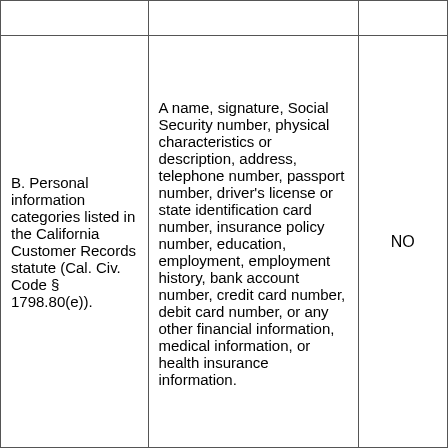|  |  |  |
| B. Personal information categories listed in the California Customer Records statute (Cal. Civ. Code § 1798.80(e)). | A name, signature, Social Security number, physical characteristics or description, address, telephone number, passport number, driver's license or state identification card number, insurance policy number, education, employment, employment history, bank account number, credit card number, debit card number, or any other financial information, medical information, or health insurance information. | NO |